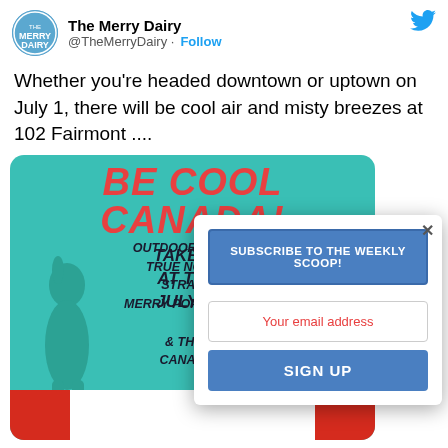The Merry Dairy @TheMerryDairy · Follow
Whether you're headed downtown or uptown on July 1, there will be cool air and misty breezes at 102 Fairmont ....
[Figure (screenshot): Teal promotional card for 'BE COOL CANADA!' event at The Merry Dairy on July 1, showing a dog silhouette and text about outdoor misting, True North, strawberry, Merry Pops, Dog Treats, and Canada Day details. Overlaid by a popup with 'SUBSCRIBE TO THE WEEKLY SCOOP!' button, email input, and 'SIGN UP' button.]